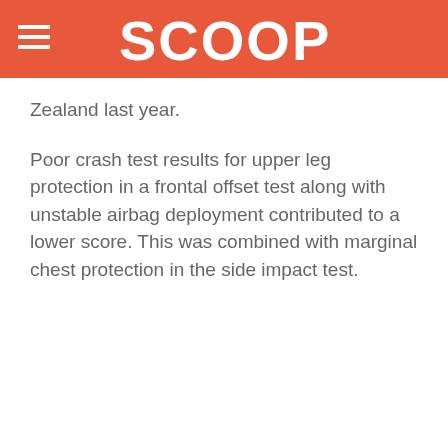SCOOP
Zealand last year.
Poor crash test results for upper leg protection in a frontal offset test along with unstable airbag deployment contributed to a lower score. This was combined with marginal chest protection in the side impact test.